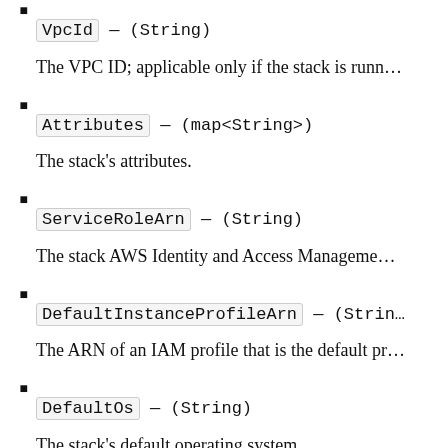VpcId — (String)
The VPC ID; applicable only if the stack is runn…
Attributes — (map<String>)
The stack's attributes.
ServiceRoleArn — (String)
The stack AWS Identity and Access Manageme…
DefaultInstanceProfileArn — (Strin…
The ARN of an IAM profile that is the default pr…
DefaultOs — (String)
The stack's default operating system.
HostnameTheme — (String)
The stack host name theme, with spaces replac…